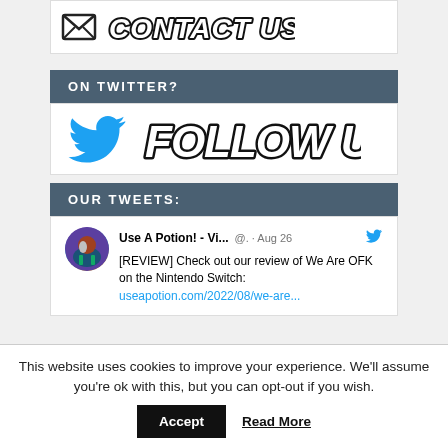[Figure (illustration): Partial banner image showing stylized 'CONTACT US' text with envelope icon, partially cropped at top of page]
ON TWITTER?
[Figure (illustration): Twitter bird logo (blue) beside stylized 'FOLLOW US' text in bold black brush font]
OUR TWEETS:
Use A Potion! - Vi... @. · Aug 26 [REVIEW] Check out our review of We Are OFK on the Nintendo Switch: useapotion.com/2022/08/we-are...
This website uses cookies to improve your experience. We'll assume you're ok with this, but you can opt-out if you wish.
Accept  Read More